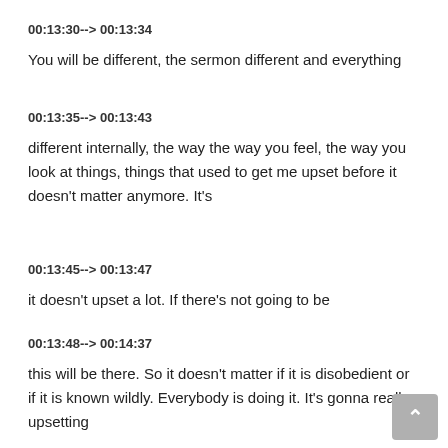00:13:30--> 00:13:34
You will be different, the sermon different and everything
00:13:35--> 00:13:43
different internally, the way the way you feel, the way you look at things, things that used to get me upset before it doesn't matter anymore. It's
00:13:45--> 00:13:47
it doesn't upset a lot. If there's not going to be
00:13:48--> 00:14:37
this will be there. So it doesn't matter if it is disobedient or if it is known wildly. Everybody is doing it. It's gonna really upsetting